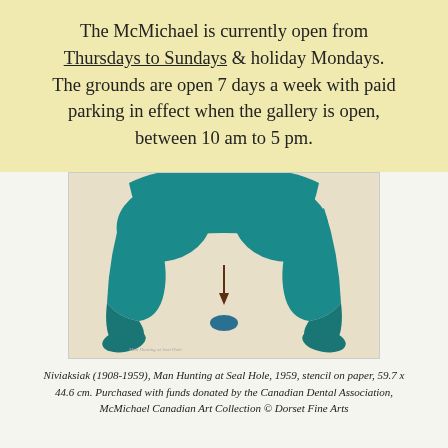The McMichael is currently open from Thursdays to Sundays & holiday Mondays. The grounds are open 7 days a week with paid parking in effect when the gallery is open, between 10 am to 5 pm.
[Figure (photo): Close-up of an artwork showing a teal/blue stylized figure with leg-like forms and a downward arrow, on a pale background. Appears to be an Inuit stencil print.]
Niviaksiak (1908-1959), Man Hunting at Seal Hole, 1959, stencil on paper, 59.7 x 44.6 cm. Purchased with funds donated by the Canadian Dental Association, McMichael Canadian Art Collection © Dorset Fine Arts